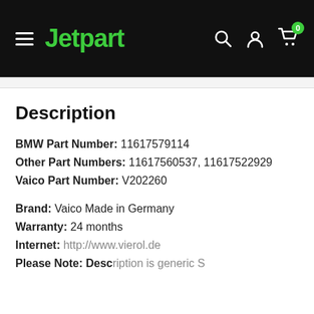Jetpart
Description
BMW Part Number: 11617579114
Other Part Numbers: 11617560537, 11617522929
Vaico Part Number: V202260
Brand: Vaico Made in Germany
Warranty: 24 months
Internet: http://www.vierol.de